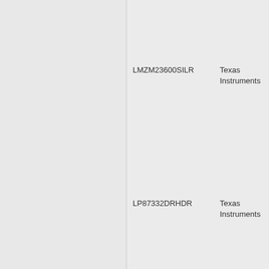LMZM23600SILR
Texas Instruments
LP87332DRHDR
Texas Instruments
MSP430FR2422IRHLR
Texas Instruments
MSP430FR6035IPZ
Texas Instruments